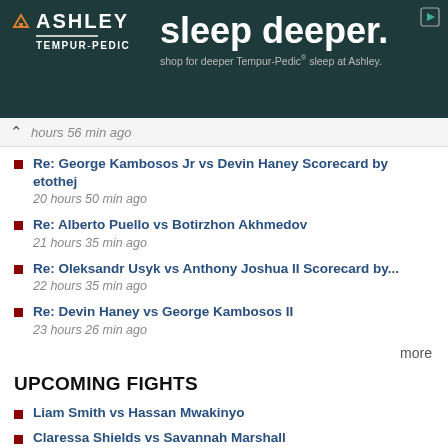[Figure (other): Ashley Furniture advertisement for Tempur-Pedic mattresses with text 'sleep deeper. shop for deeper Tempur-Pedic sleep at Ashley.' on dark teal background]
hours 56 min ago
Re: George Kambosos Jr vs Devin Haney Scorecard by etothej
20 hours 50 min ago
Re: Alberto Puello vs Botirzhon Akhmedov
21 hours 35 min ago
Re: Oleksandr Usyk vs Anthony Joshua II Scorecard by...
22 hours 35 min ago
Re: Devin Haney vs George Kambosos II
23 hours 26 min ago
more
UPCOMING FIGHTS
Liam Smith vs Hassan Mwakinyo
Claressa Shields vs Savannah Marshall